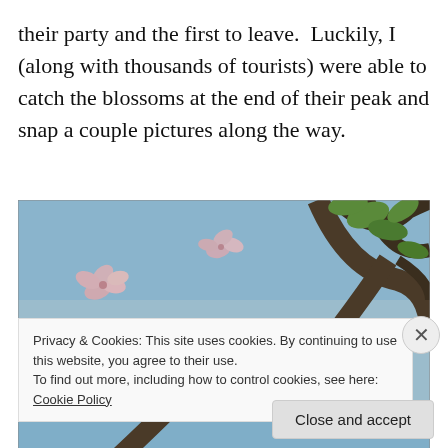their party and the first to leave.  Luckily, I (along with thousands of tourists) were able to catch the blossoms at the end of their peak and snap a couple pictures along the way.
[Figure (photo): Close-up photograph of pink cherry blossoms on a branch against a blue-grey sky, with green leaves and dark tree branches visible.]
Privacy & Cookies: This site uses cookies. By continuing to use this website, you agree to their use.
To find out more, including how to control cookies, see here: Cookie Policy
Close and accept